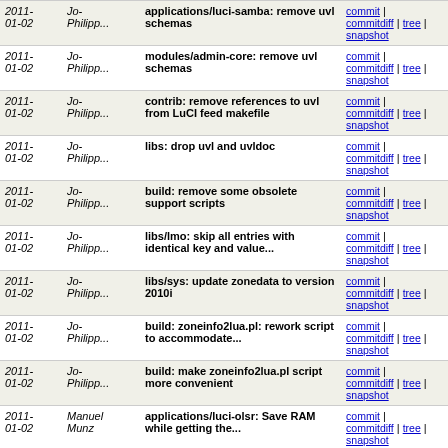| Date | Author | Message | Links |
| --- | --- | --- | --- |
| 2011-01-02 | Jo-Philipp... | applications/luci-samba: remove uvl schemas | commit | commitdiff | tree | snapshot |
| 2011-01-02 | Jo-Philipp... | modules/admin-core: remove uvl schemas | commit | commitdiff | tree | snapshot |
| 2011-01-02 | Jo-Philipp... | contrib: remove references to uvl from LuCI feed makefile | commit | commitdiff | tree | snapshot |
| 2011-01-02 | Jo-Philipp... | libs: drop uvl and uvldoc | commit | commitdiff | tree | snapshot |
| 2011-01-02 | Jo-Philipp... | build: remove some obsolete support scripts | commit | commitdiff | tree | snapshot |
| 2011-01-02 | Jo-Philipp... | libs/lmo: skip all entries with identical key and value... | commit | commitdiff | tree | snapshot |
| 2011-01-02 | Jo-Philipp... | libs/sys: update zonedata to version 2010i | commit | commitdiff | tree | snapshot |
| 2011-01-02 | Jo-Philipp... | build: zoneinfo2lua.pl: rework script to accommodate... | commit | commitdiff | tree | snapshot |
| 2011-01-02 | Jo-Philipp... | build: make zoneinfo2lua.pl script more convenient | commit | commitdiff | tree | snapshot |
| 2011-01-02 | Manuel Munz | applications/luci-olsr: Save RAM while getting the... | commit | commitdiff | tree | snapshot |
| 2011-01-02 | Manuel Munz | applications/luci-olsr: Make the default gateway yellow... | commit | commitdiff | tree | snapshot |
| 2011-01-02 | Manuel Munz | applications/luci-olsr: General code cleanup, thanks... | commit | commitdiff | tree | snapshot |
| 2010-12-24 | Jo-Philipp... | libs/core: fix some issues in network model | commit | commitdiff | tree | snapshot |